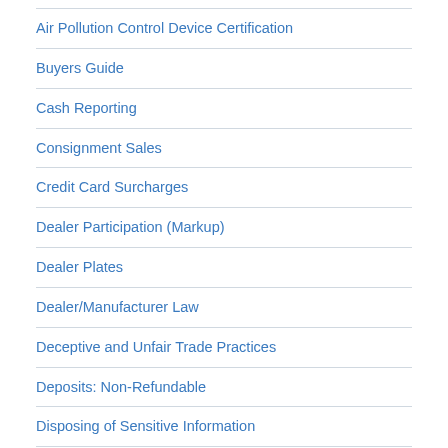Air Pollution Control Device Certification
Buyers Guide
Cash Reporting
Consignment Sales
Credit Card Surcharges
Dealer Participation (Markup)
Dealer Plates
Dealer/Manufacturer Law
Deceptive and Unfair Trade Practices
Deposits: Non-Refundable
Disposing of Sensitive Information
DMS (DMV) Record Keeping Requirements